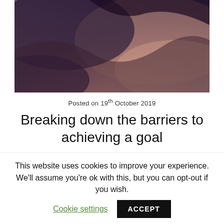[Figure (photo): Abstract close-up photo with dark blue and warm peachy tones, possibly sand dunes or fabric with dramatic shadows and highlights.]
Posted on 19th October 2019
Breaking down the barriers to achieving a goal
When we set goals we have the best intentions of achieving them. Some goals are achievable through
This website uses cookies to improve your experience. We'll assume you're ok with this, but you can opt-out if you wish.
Cookie settings
ACCEPT